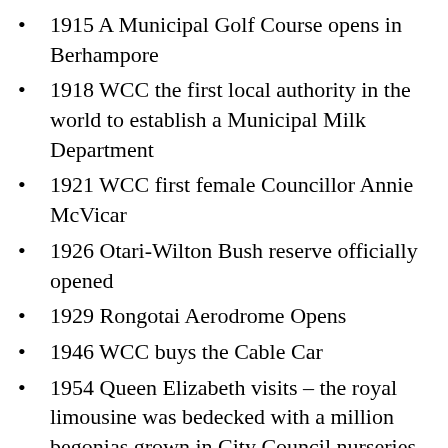1915 A Municipal Golf Course opens in Berhampore
1918 WCC the first local authority in the world to establish a Municipal Milk Department
1921 WCC first female Councillor Annie McVicar
1926 Otari-Wilton Bush reserve officially opened
1929 Rongotai Aerodrome Opens
1946 WCC buys the Cable Car
1954 Queen Elizabeth visits – the royal limousine was bedecked with a million begonias grown in City Council nurseries especially for the occasion
1959 New airport in Rongotai opens 24